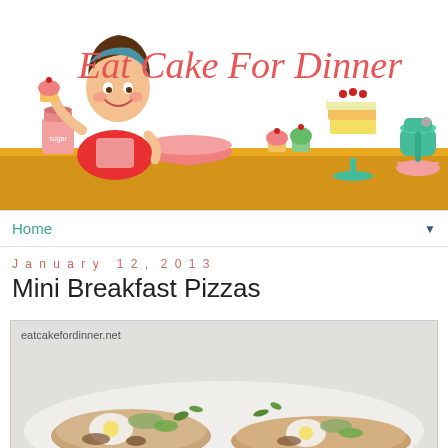[Figure (illustration): Eat Cake For Dinner blog header banner. Cartoon illustration of a retro-style woman baker in red dress holding a cupcake, standing behind a wooden counter with baking items: pink sugar jar, mixing bowl, cupcakes, layered cake on stand, teal KitchenAid mixer with pink bowl. Script text reads 'Eat Cake For Dinner' in red/coral color.]
Home ▼
January 12, 2013
Mini Breakfast Pizzas
[Figure (photo): Food photograph of mini breakfast pizzas on a light background with watermark text 'eatcakefordinner.net'. Pizzas appear topped with eggs, greens/herbs, and other toppings, photographed from above at an angle.]